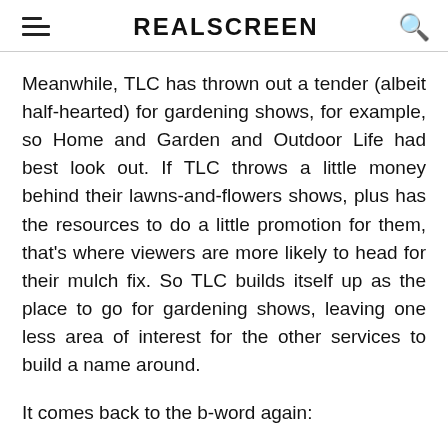REALSCREEN
Meanwhile, TLC has thrown out a tender (albeit half-hearted) for gardening shows, for example, so Home and Garden and Outdoor Life had best look out. If TLC throws a little money behind their lawns-and-flowers shows, plus has the resources to do a little promotion for them, that's where viewers are more likely to head for their mulch fix. So TLC builds itself up as the place to go for gardening shows, leaving one less area of interest for the other services to build a name around.
It comes back to the b-word again: